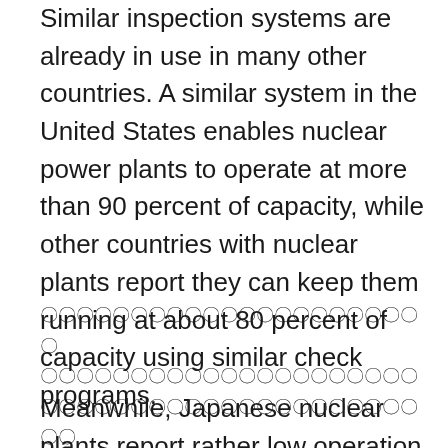Similar inspection systems are already in use in many other countries. A similar system in the United States enables nuclear power plants to operate at more than 90 percent of capacity, while other countries with nuclear plants report they can keep them running at about 80 percent of capacity using similar check programs.
（Japanese text lines）
Meanwhile, Japanese nuclear plants report rather low operation rates. The average operating rate for plants in the nation sometimes has been below 50 percent since Tokyo Electric Power Co.'s Kashiwazaki-Kariwa nuclear power station in Niigata Prefecture suspended operations after it was hit by the Niigata Prefecture